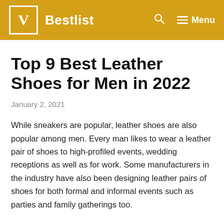V Bestlist   🔍   ≡ Menu
Top 9 Best Leather Shoes for Men in 2022
January 2, 2021
While sneakers are popular, leather shoes are also popular among men. Every man likes to wear a leather pair of shoes to high-profiled events, wedding receptions as well as for work. Some manufacturers in the industry have also been designing leather pairs of shoes for both formal and informal events such as parties and family gatherings too.